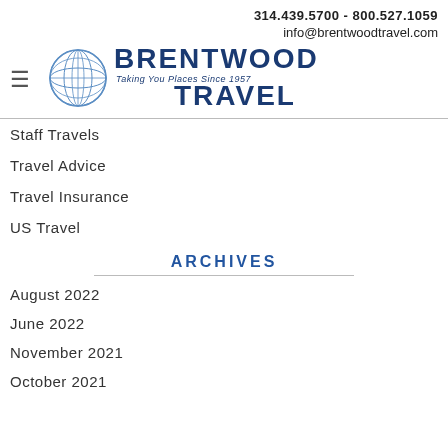314.439.5700 - 800.527.1059
info@brentwoodtravel.com
[Figure (logo): Brentwood Travel logo with globe icon and text 'Taking You Places Since 1957']
Staff Travels
Travel Advice
Travel Insurance
US Travel
ARCHIVES
August 2022
June 2022
November 2021
October 2021